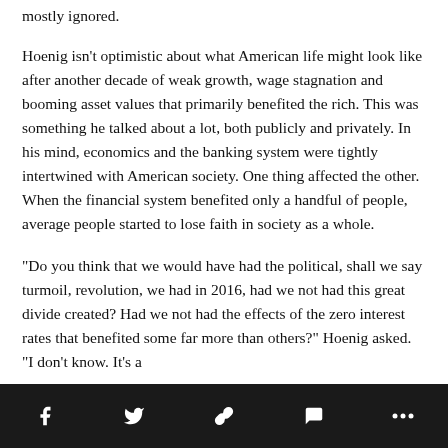mostly ignored.
Hoenig isn't optimistic about what American life might look like after another decade of weak growth, wage stagnation and booming asset values that primarily benefited the rich. This was something he talked about a lot, both publicly and privately. In his mind, economics and the banking system were tightly intertwined with American society. One thing affected the other. When the financial system benefited only a handful of people, average people started to lose faith in society as a whole.
“Do you think that we would have had the political, shall we say turmoil, revolution, we had in 2016, had we not had this great divide created? Had we not had the effects of the zero interest rates that benefited some far more than others?” Hoenig asked. “I don’t know. It’s a
social share toolbar with Facebook, Twitter, link, comment, and more icons